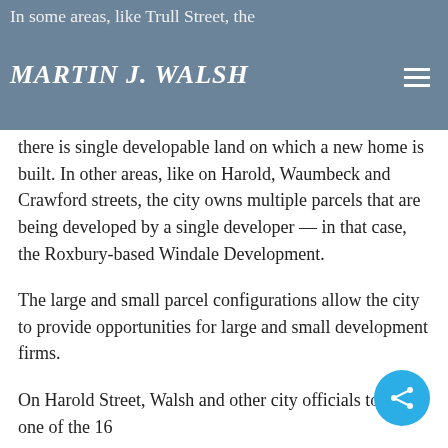MARTIN J. WALSH
In some areas, like Trull Street, the — single — developable land on which a new home is built. In other areas, like on Harold, Waumbeck and Crawford streets, the city owns multiple parcels that are being developed by a single developer — in that case, the Roxbury-based Windale Development.
The large and small parcel configurations allow the city to provide opportunities for large and small development firms.
On Harold Street, Walsh and other city officials toured one of the 16